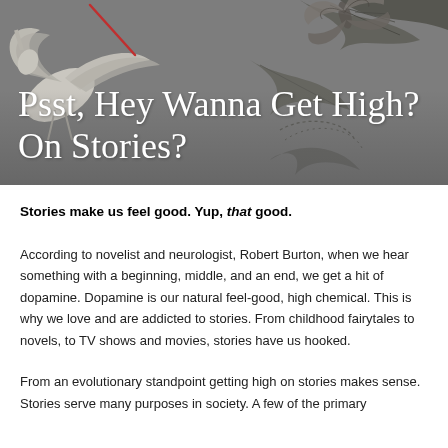[Figure (illustration): Decorative header image with botanical/bird illustrations on a dark gray background, featuring birds and large leaves in an engraving style with a red accent stroke]
Psst, Hey Wanna Get High? On Stories?
Stories make us feel good. Yup, that good.
According to novelist and neurologist, Robert Burton, when we hear something with a beginning, middle, and an end, we get a hit of dopamine. Dopamine is our natural feel-good, high chemical. This is why we love and are addicted to stories. From childhood fairytales to novels, to TV shows and movies, stories have us hooked.
From an evolutionary standpoint getting high on stories makes sense. Stories serve many purposes in society. A few of the primary